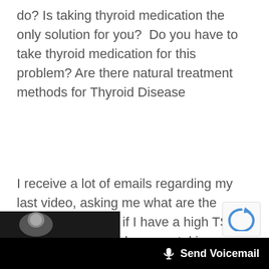do? Is taking thyroid medication the only solution for you?  Do you have to take thyroid medication for this problem? Are there natural treatment methods for Thyroid Disease
I receive a lot of emails regarding my last video, asking me what are the treatment options if I have a high TSH. For many men and woman taking thyroid replacement causes new symptoms like depression brain fog, or just a worsening of their existing symptoms.
[Figure (screenshot): reCAPTCHA logo bubble in bottom right corner]
[Figure (photo): Dark image strip at the bottom of the page showing a partial face or person]
Send Voicemail